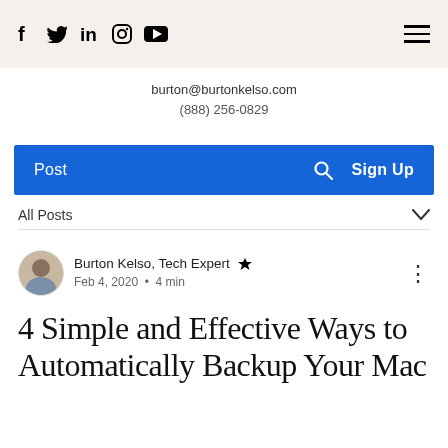f  twitter  in  instagram  youtube  [hamburger menu]
burton@burtonkelso.com
(888) 256-0829
Post  [search icon]  Sign Up
All Posts
Burton Kelso, Tech Expert [admin icon]  Feb 4, 2020  •  4 min
4 Simple and Effective Ways to Automatically Backup Your Mac